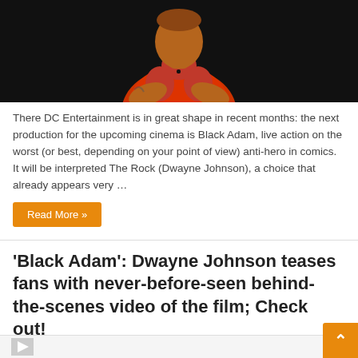[Figure (photo): A muscular man wearing a red knit polo shirt against a dark/black background, with arms clasped, appears to be Dwayne Johnson (The Rock)]
There DC Entertainment is in great shape in recent months: the next production for the upcoming cinema is Black Adam, live action on the worst (or best, depending on your point of view) anti-hero in comics. It will be interpreted The Rock (Dwayne Johnson), a choice that already appears very …
Read More »
'Black Adam': Dwayne Johnson teases fans with never-before-seen behind-the-scenes video of the film; Check out!
May 20, 2022   Entertainment   0